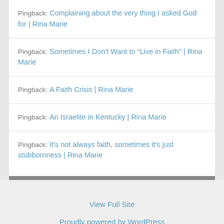Pingback: Complaining about the very thing I asked God for | Rina Marie
Pingback: Sometimes I Don’t Want to “Live in Faith” | Rina Marie
Pingback: A Faith Crisis | Rina Marie
Pingback: An Israelite in Kentucky | Rina Marie
Pingback: It’s not always faith, sometimes it’s just stubbornness | Rina Marie
View Full Site
Proudly powered by WordPress